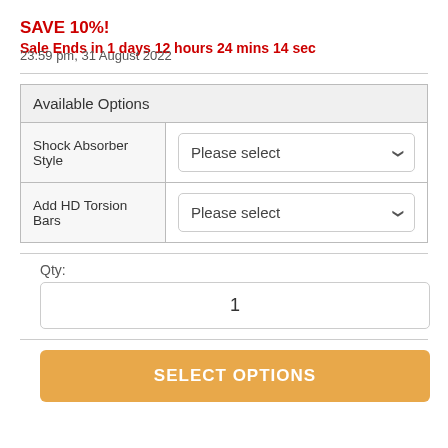SAVE 10%!
Sale Ends in 1 days 12 hours 24 mins 14 sec
23:59 pm, 31 August 2022
| Available Options |
| --- |
| Shock Absorber Style | Please select |
| Add HD Torsion Bars | Please select |
Qty:
1
SELECT OPTIONS